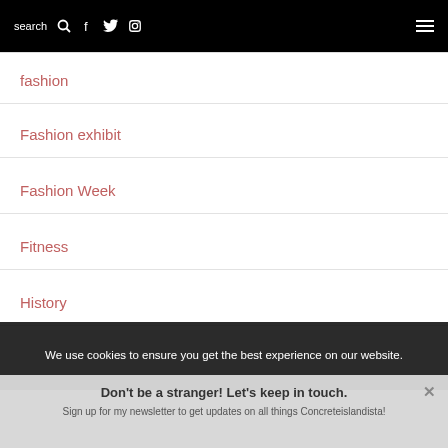search | social icons | hamburger menu
fashion
Fashion exhibit
Fashion Week
Fitness
History
We use cookies to ensure you get the best experience on our website.
Don't be a stranger! Let's keep in touch. Sign up for my newsletter to get updates on all things Concreteislandista!